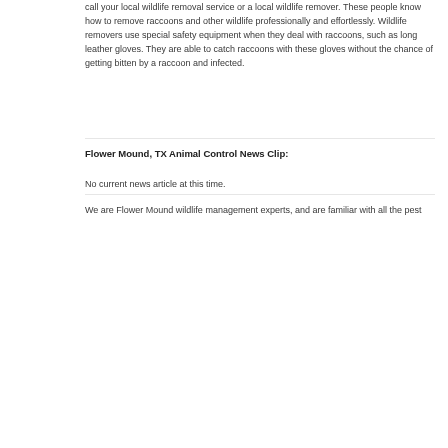call your local wildlife removal service or a local wildlife remover. These people know how to remove raccoons and other wildlife professionally and effortlessly. Wildlife removers use special safety equipment when they deal with raccoons, such as long leather gloves. They are able to catch raccoons with these gloves without the chance of getting bitten by a raccoon and infected.
Flower Mound, TX Animal Control News Clip:
No current news article at this time.
We are Flower Mound wildlife management experts, and are familiar with all the pest